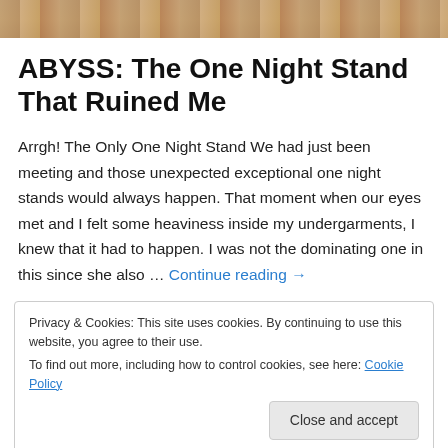[Figure (photo): Top photo strip — close-up image, warm brown tones]
ABYSS: The One Night Stand That Ruined Me
Arrgh! The Only One Night Stand We had just been meeting and those unexpected exceptional one night stands would always happen. That moment when our eyes met and I felt some heaviness inside my undergarments, I knew that it had to happen. I was not the dominating one in this since she also … Continue reading →
Privacy & Cookies: This site uses cookies. By continuing to use this website, you agree to their use.
To find out more, including how to control cookies, see here: Cookie Policy
Close and accept
[Figure (photo): Bottom photo strip — dark blue/teal outdoor night scene]